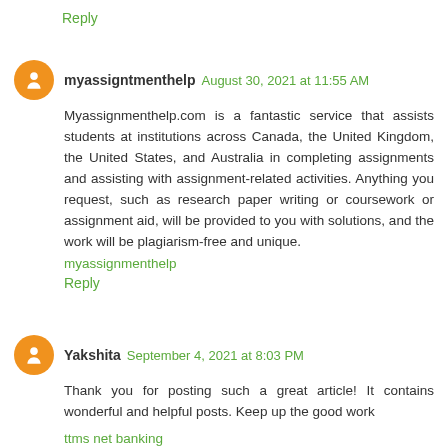Reply
myassigntmenthelp August 30, 2021 at 11:55 AM
Myassignmenthelp.com is a fantastic service that assists students at institutions across Canada, the United Kingdom, the United States, and Australia in completing assignments and assisting with assignment-related activities. Anything you request, such as research paper writing or coursework or assignment aid, will be provided to you with solutions, and the work will be plagiarism-free and unique.
myassignmenthelp
Reply
Yakshita September 4, 2021 at 8:03 PM
Thank you for posting such a great article! It contains wonderful and helpful posts. Keep up the good work
ttms net banking